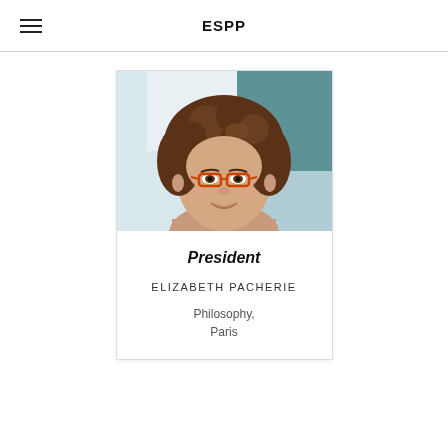ESPP
[Figure (photo): Headshot photo of Elizabeth Pacherie, a woman with curly brown hair and orange-framed glasses, smiling, with a light blue/teal background]
President
ELIZABETH PACHERIE
Philosophy, Paris